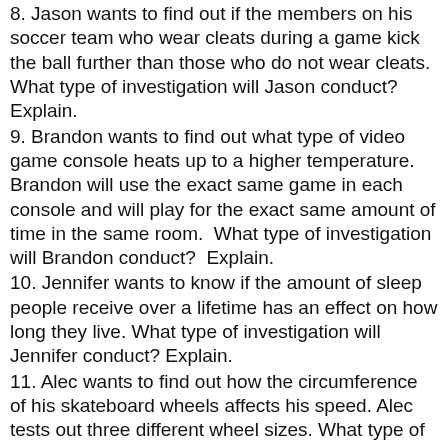8.  Jason wants to find out if the members on his soccer team who wear cleats during a game kick the ball further than those who do not wear cleats.  What type of investigation will Jason conduct?  Explain.
9.  Brandon wants to find out what type of video game console heats up to a higher temperature.  Brandon will use the exact same game in each console and will play for the exact same amount of time in the same room.  What type of investigation will Brandon conduct?  Explain.
10.  Jennifer wants to know if the amount of sleep people receive over a lifetime has an effect on how long they live.  What type of investigation will Jennifer conduct?  Explain.
11.  Alec wants to find out how the circumference of his skateboard wheels affects his speed.  Alec tests out three different wheel sizes.  What type of investigation will Alec conduct?  Explain.
12.  Ms. Shon wants to know if the amount of rainfall has an effect on the number of roses that grow on her rose bush.  What type of